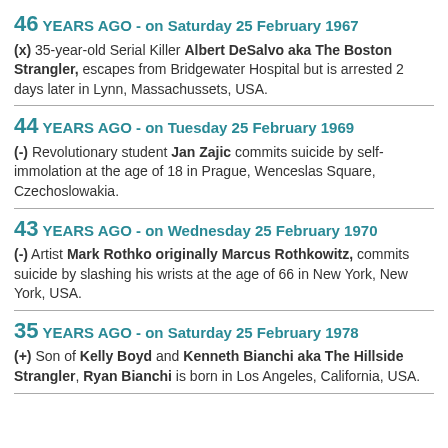46 YEARS AGO - on Saturday 25 February 1967
(x) 35-year-old Serial Killer Albert DeSalvo aka The Boston Strangler, escapes from Bridgewater Hospital but is arrested 2 days later in Lynn, Massachussets, USA.
44 YEARS AGO - on Tuesday 25 February 1969
(-) Revolutionary student Jan Zajic commits suicide by self-immolation at the age of 18 in Prague, Wenceslas Square, Czechoslowakia.
43 YEARS AGO - on Wednesday 25 February 1970
(-) Artist Mark Rothko originally Marcus Rothkowitz, commits suicide by slashing his wrists at the age of 66 in New York, New York, USA.
35 YEARS AGO - on Saturday 25 February 1978
(+) Son of Kelly Boyd and Kenneth Bianchi aka The Hillside Strangler, Ryan Bianchi is born in Los Angeles, California, USA.